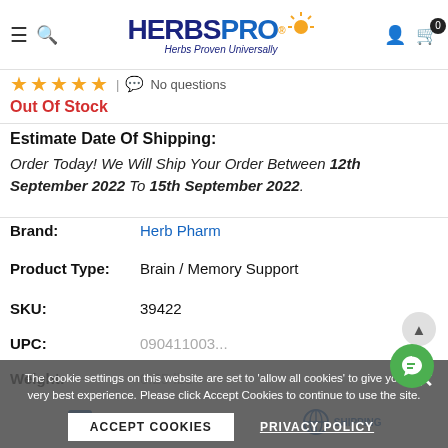[Figure (logo): HerbsPro logo with sun icon and tagline 'Herbs Proven Universally']
★★★★★ | No questions
Out Of Stock
Estimate Date Of Shipping:
Order Today! We Will Ship Your Order Between 12th September 2022 To 15th September 2022.
| Brand: | Herb Pharm |
| Product Type: | Brain / Memory Support |
| SKU: | 39422 |
| UPC: | 090411003... |
| Weight: | 0.25 lbs |
The cookie settings on this website are set to 'allow all cookies' to give you the very best experience. Please click Accept Cookies to continue to use the site.
ACCEPT COOKIES
PRIVACY POLICY